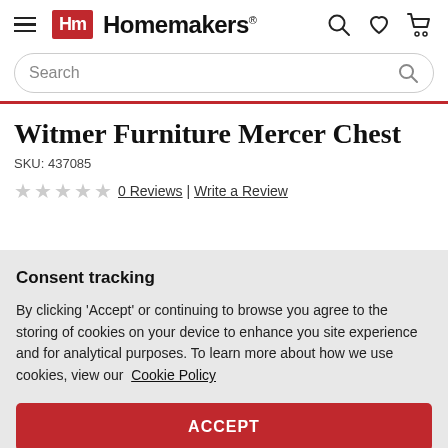[Figure (logo): Homemakers furniture store logo with red Hm box and text]
Search
Witmer Furniture Mercer Chest
SKU: 437085
★★★★★ 0 Reviews | Write a Review
Consent tracking
By clicking 'Accept' or continuing to browse you agree to the storing of cookies on your device to enhance you site experience and for analytical purposes. To learn more about how we use cookies, view our Cookie Policy
ACCEPT